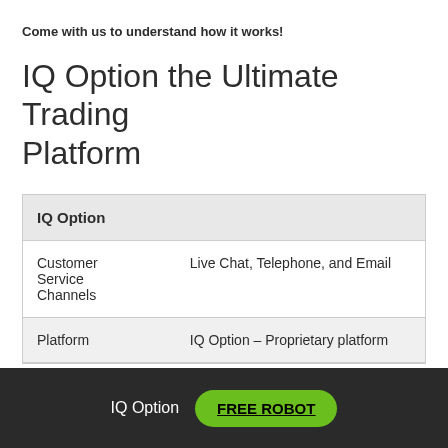Come with us to understand how it works!
IQ Option the Ultimate Trading Platform
| IQ Option |  |
| --- | --- |
| Customer Service Channels | Live Chat, Telephone, and Email |
| Platform | IQ Option – Proprietary platform |
IQ Option  FREE ROBOT